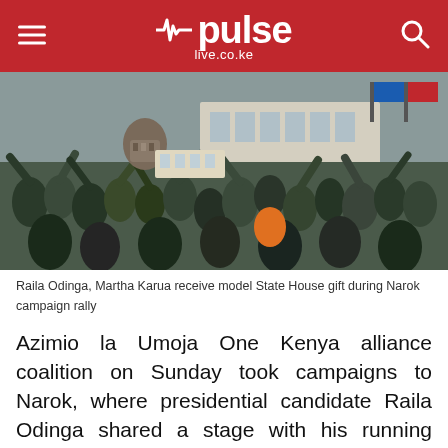pulse live.co.ke
[Figure (photo): Crowd at a campaign rally; a person in a patterned shirt leans forward handing a model State House building to supporters in the crowd, with a white building visible in the background.]
Raila Odinga, Martha Karua receive model State House gift during Narok campaign rally
Azimio la Umoja One Kenya alliance coalition on Sunday took campaigns to Narok, where presidential candidate Raila Odinga shared a stage with his running mate Martha Karua for the first time since the two were unveiled as a joint ticket.